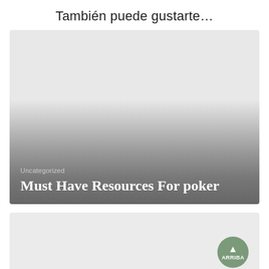También puede gustarte…
[Figure (illustration): Card with light-to-dark gray gradient background showing category label 'Uncategorized' and title 'Must Have Resources For poker']
[Figure (illustration): Second card with light gray background, partially visible, with an 'ARRIBA' scroll-to-top button in sage green]